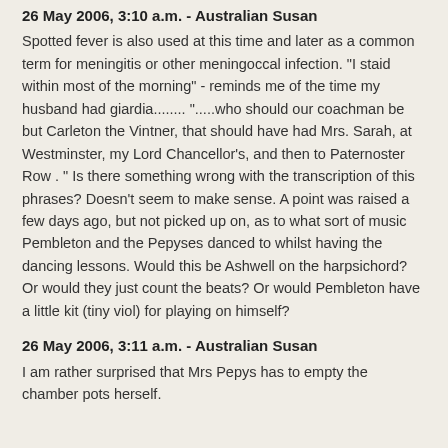26 May 2006, 3:10 a.m. - Australian Susan
Spotted fever is also used at this time and later as a common term for meningitis or other meningoccal infection. "I staid within most of the morning" - reminds me of the time my husband had giardia........ ".....who should our coachman be but Carleton the Vintner, that should have had Mrs. Sarah, at Westminster, my Lord Chancellor's, and then to Paternoster Row . " Is there something wrong with the transcription of this phrases? Doesn't seem to make sense. A point was raised a few days ago, but not picked up on, as to what sort of music Pembleton and the Pepyses danced to whilst having the dancing lessons. Would this be Ashwell on the harpsichord? Or would they just count the beats? Or would Pembleton have a little kit (tiny viol) for playing on himself?
26 May 2006, 3:11 a.m. - Australian Susan
I am rather surprised that Mrs Pepys has to empty the chamber pots herself.